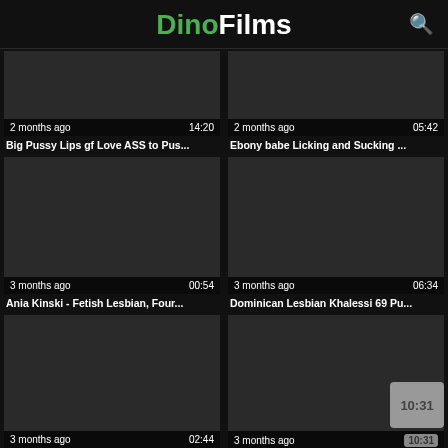DinoFilms
[Figure (screenshot): Video thumbnail dark, 2 months ago, 14:20]
[Figure (screenshot): Video thumbnail dark, 2 months ago, 05:42]
Big Pussy Lips gf Love ASS to Pus...
Ebony babe Licking and Sucking ...
[Figure (screenshot): Video thumbnail dark, 3 months ago, 00:54]
[Figure (screenshot): Video thumbnail dark, 3 months ago, 06:34]
Ania Kinski - Fetish Lesbian, Four...
Dominican Lesbian Khalessi 69 Pu...
[Figure (screenshot): Video thumbnail dark, 3 months ago, 02:44]
[Figure (screenshot): Video thumbnail dark, 3 months ago, 10:31 (with popup overlay)]
playing with massage gun
Prostitute records herself sucking ...